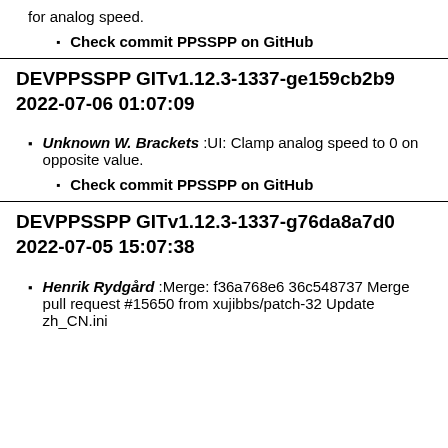for analog speed.
Check commit PPSSPP on GitHub
DEVPPSSPP GITv1.12.3-1337-ge159cb2b9 2022-07-06 01:07:09
Unknown W. Brackets :UI: Clamp analog speed to 0 on opposite value.
Check commit PPSSPP on GitHub
DEVPPSSPP GITv1.12.3-1337-g76da8a7d0 2022-07-05 15:07:38
Henrik Rydgård :Merge: f36a768e6 36c548737 Merge pull request #15650 from xujibbs/patch-32 Update zh_CN.ini